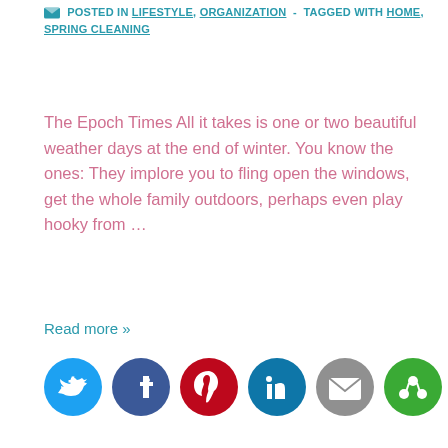POSTED IN LIFESTYLE, ORGANIZATION - TAGGED WITH HOME, SPRING CLEANING
The Epoch Times All it takes is one or two beautiful weather days at the end of winter. You know the ones: They implore you to fling open the windows, get the whole family outdoors, perhaps even play hooky from …
Read more »
[Figure (infographic): Social sharing icons: Twitter (blue), Facebook (dark blue), Pinterest (red), LinkedIn (teal), Email (grey), More (green)]